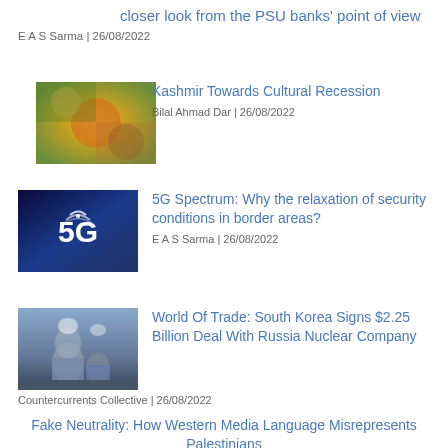closer look from the PSU banks' point of view
E A S Sarma | 26/08/2022
[Figure (photo): Colorful decorative pattern thumbnail for Kashmir article]
Kashmir Towards Cultural Recession
Bilal Ahmad Dar | 26/08/2022
[Figure (photo): 5G technology graphic with 5G text on dark blue background]
5G Spectrum: Why the relaxation of security conditions in border areas?
E A S Sarma | 26/08/2022
[Figure (photo): Aerial view of nuclear power plant for South Korea article]
World Of Trade: South Korea Signs $2.25 Billion Deal With Russia Nuclear Company
Countercurrents Collective | 26/08/2022
Fake Neutrality: How Western Media Language Misrepresents Palestinians